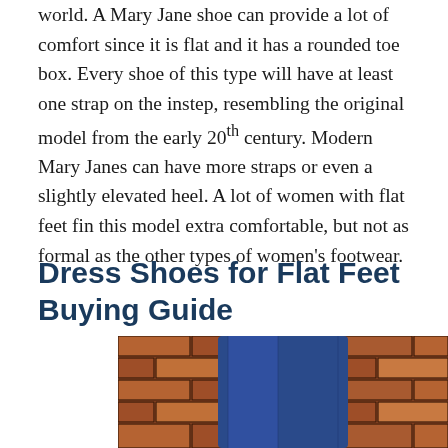world. A Mary Jane shoe can provide a lot of comfort since it is flat and it has a rounded toe box. Every shoe of this type will have at least one strap on the instep, resembling the original model from the early 20th century. Modern Mary Janes can have more straps or even a slightly elevated heel. A lot of women with flat feet fin this model extra comfortable, but not as formal as the other types of women's footwear.
Dress Shoes for Flat Feet Buying Guide
[Figure (photo): A person wearing blue jeans standing in front of a brick wall, photo cropped at the bottom of the page.]